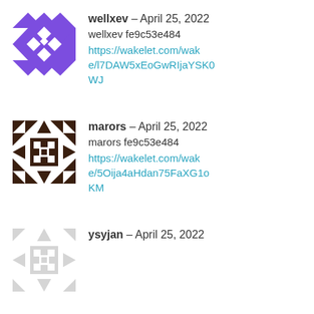[Figure (illustration): Purple geometric quilt-pattern avatar for user wellxev]
wellxev – April 25, 2022
wellxev fe9c53e484
https://wakelet.com/wake/l7DAW5xEoGwRIjaYSK0WJ
[Figure (illustration): Dark brown geometric snowflake/cross pattern avatar for user marors]
marors – April 25, 2022
marors fe9c53e484
https://wakelet.com/wake/5Oija4aHdan75FaXG1oKM
[Figure (illustration): Light gray/faded geometric pattern avatar for user ysyjan]
ysyjan – April 25, 2022